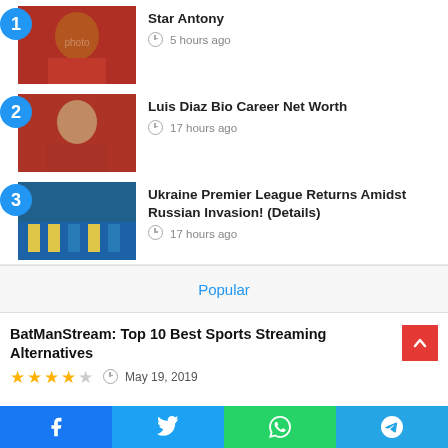Star Antony — 5 hours ago
Luis Diaz Bio Career Net Worth — 17 hours ago
Ukraine Premier League Returns Amidst Russian Invasion! (Details) — 17 hours ago
Popular
BatManStream: Top 10 Best Sports Streaming Alternatives
★★★★☆  May 19, 2019